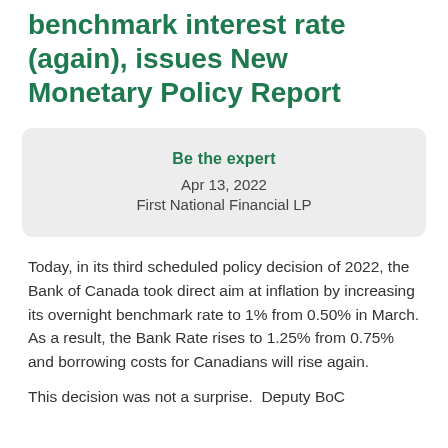benchmark interest rate (again), issues New Monetary Policy Report
Be the expert
Apr 13, 2022
First National Financial LP
Today, in its third scheduled policy decision of 2022, the Bank of Canada took direct aim at inflation by increasing its overnight benchmark rate to 1% from 0.50% in March. As a result, the Bank Rate rises to 1.25% from 0.75% and borrowing costs for Canadians will rise again.
This decision was not a surprise.  Deputy BoC